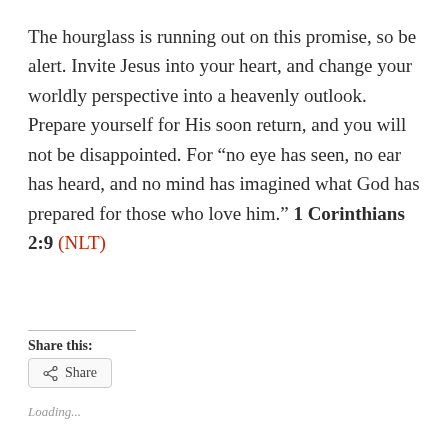The hourglass is running out on this promise, so be alert. Invite Jesus into your heart, and change your worldly perspective into a heavenly outlook. Prepare yourself for His soon return, and you will not be disappointed. For “no eye has seen, no ear has heard, and no mind has imagined what God has prepared for those who love him.” 1 Corinthians 2:9 (NLT)
Share this:
Loading...